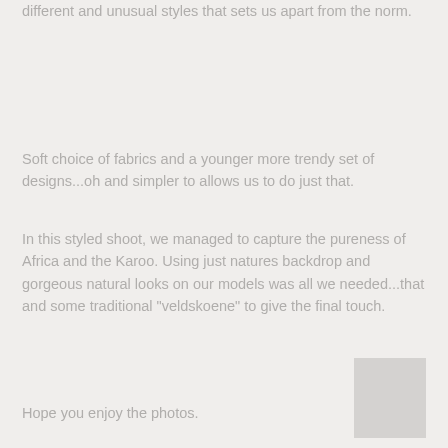different and unusual styles that sets us apart from the norm.
Soft choice of fabrics and a younger more trendy set of designs...oh and simpler to allows us to do just that.
In this styled shoot, we managed to capture the pureness of Africa and the Karoo. Using just natures backdrop and gorgeous natural looks on our models was all we needed...that and some traditional "veldskoene" to give the final touch.
Hope you enjoy the photos.
[Figure (other): Gray rectangle in bottom-right corner of page]